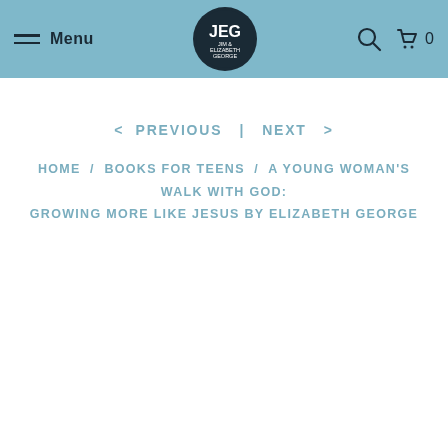Menu | JEG Jim & Elizabeth George | Search | Cart 0
< PREVIOUS | NEXT >
HOME / BOOKS FOR TEENS / A YOUNG WOMAN'S WALK WITH GOD: GROWING MORE LIKE JESUS BY ELIZABETH GEORGE